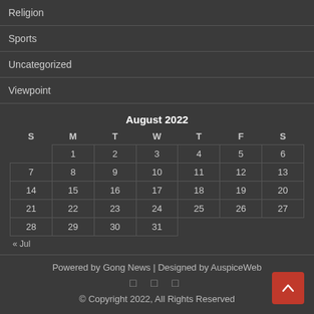Religion
Sports
Uncategorized
Viewpoint
| S | M | T | W | T | F | S |
| --- | --- | --- | --- | --- | --- | --- |
|  | 1 | 2 | 3 | 4 | 5 | 6 |
| 7 | 8 | 9 | 10 | 11 | 12 | 13 |
| 14 | 15 | 16 | 17 | 18 | 19 | 20 |
| 21 | 22 | 23 | 24 | 25 | 26 | 27 |
| 28 | 29 | 30 | 31 |  |  |  |
« Jul
Powered by Gong News | Designed by AuspiceWeb
© Copyright 2022, All Rights Reserved